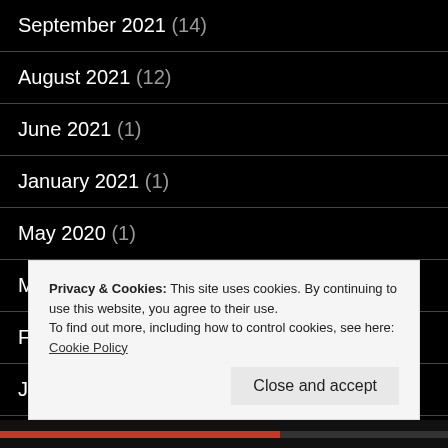September 2021 (14)
August 2021 (12)
June 2021 (1)
January 2021 (1)
May 2020 (1)
March 2020 (2)
February 2020 (2)
January 2020 (1)
November 2019 (1)
Privacy & Cookies: This site uses cookies. By continuing to use this website, you agree to their use.
To find out more, including how to control cookies, see here: Cookie Policy
Close and accept